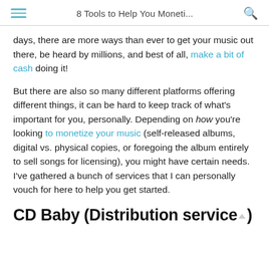8 Tools to Help You Moneti...
days, there are more ways than ever to get your music out there, be heard by millions, and best of all, make a bit of cash doing it!
But there are also so many different platforms offering different things, it can be hard to keep track of what's important for you, personally. Depending on how you're looking to monetize your music (self-released albums, digital vs. physical copies, or foregoing the album entirely to sell songs for licensing), you might have certain needs. I've gathered a bunch of services that I can personally vouch for here to help you get started.
CD Baby (Distribution service)